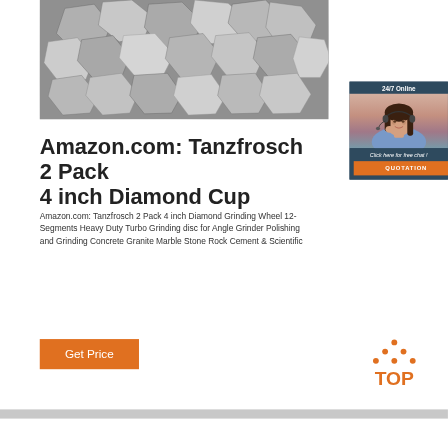[Figure (photo): Close-up grayscale photo of rough diamond/abrasive particles, angular shaped stones]
[Figure (photo): Chat widget with woman wearing headset, '24/7 Online' header, 'Click here for free chat!' text and orange QUOTATION button]
Amazon.com: Tanzfrosch 2 Pack 4 inch Diamond Cup
Amazon.com: Tanzfrosch 2 Pack 4 inch Diamond Grinding Wheel 12-Segments Heavy Duty Turbo Grinding disc for Angle Grinder Polishing and Grinding Concrete Granite Marble Stone Rock Cement & Scientific
[Figure (other): Orange 'Get Price' button]
[Figure (logo): Orange TOP logo with triangular dots above the text TOP]